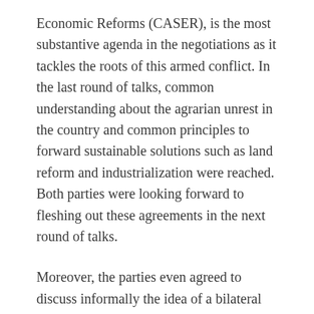Economic Reforms (CASER), is the most substantive agenda in the negotiations as it tackles the roots of this armed conflict. In the last round of talks, common understanding about the agrarian unrest in the country and common principles to forward sustainable solutions such as land reform and industrialization were reached. Both parties were looking forward to fleshing out these agreements in the next round of talks.
Moreover, the parties even agreed to discuss informally the idea of a bilateral ceasefire this month in The Netherlands when the negotiating panels were to meet to deposit the names of NDF personnel to be covered by the Joint Agreement for Safety and Immunity